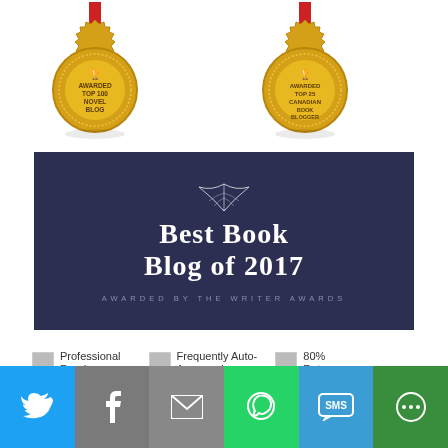[Figure (illustration): Gold medal badge awarded Top 100 Novel Blog with a trophy icon at the top, gold sunburst border, dotted inner ring, on a red ribbon]
[Figure (illustration): Gold medal badge awarded Top 25 Canadian Book Blogger with a trophy icon at the top, gold sunburst border, dotted inner ring, on a red ribbon]
[Figure (illustration): Dark navy blue banner with white feather/leaf decoration at top, reading 'Best Book Blog of 2017' in large serif text and 'Awarded by the Writer Awards' in small spaced uppercase text]
[Figure (logo): Small broken image icon for Professional Reader badge]
Professional Reader
[Figure (logo): Small broken image icon for Frequently Auto-Approved badge]
Frequently Auto-Approved
[Figure (logo): Small broken image icon for 80% badge]
80%
[Figure (infographic): Social sharing bar with Twitter, Facebook, Email, WhatsApp, SMS, and More buttons in blue, grey, green colors]